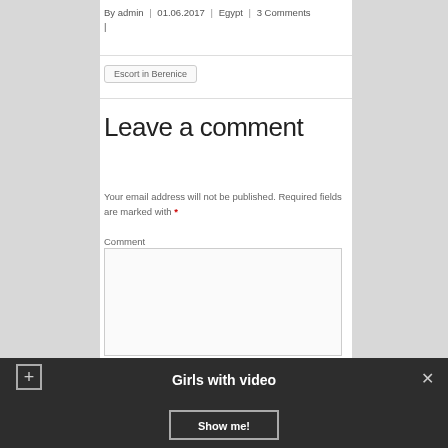By admin | 01.06.2017 | Egypt | 3 Comments |
Escort in Berenice
Leave a comment
Your email address will not be published. Required fields are marked with *
Comment
[Figure (screenshot): Dark notification bar at bottom with 'Girls with video' title, a '+' button on the left, an 'x' close button on the right, and a 'Show me!' button in the center.]